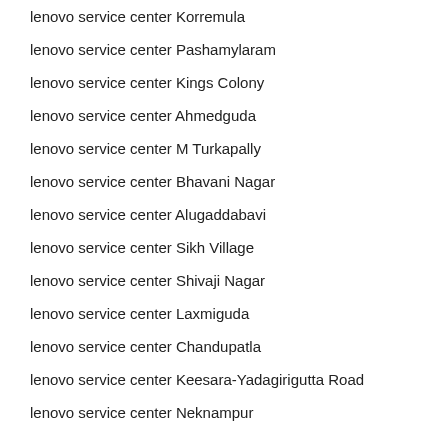lenovo service center Korremula
lenovo service center Pashamylaram
lenovo service center Kings Colony
lenovo service center Ahmedguda
lenovo service center M Turkapally
lenovo service center Bhavani Nagar
lenovo service center Alugaddabavi
lenovo service center Sikh Village
lenovo service center Shivaji Nagar
lenovo service center Laxmiguda
lenovo service center Chandupatla
lenovo service center Keesara-Yadagirigutta Road
lenovo service center Neknampur